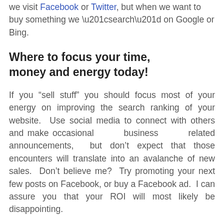we visit Facebook or Twitter, but when we want to buy something we “search” on Google or Bing.
Where to focus your time, money and energy today!
If you “sell stuff” you should focus most of your energy on improving the search ranking of your website.  Use social media to connect with others and make occasional business related announcements, but don’t expect that those encounters will translate into an avalanche of new sales.  Don’t believe me?  Try promoting your next few posts on Facebook, or buy a Facebook ad.  I can assure you that your ROI will most likely be disappointing.
Businesses need to maximize